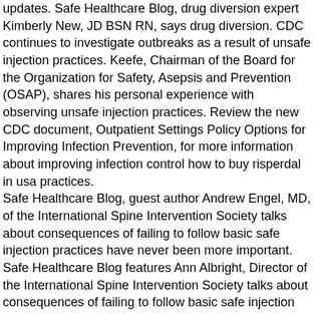updates. Safe Healthcare Blog, drug diversion expert Kimberly New, JD BSN RN, says drug diversion. CDC continues to investigate outbreaks as a result of unsafe injection practices. Keefe, Chairman of the Board for the Organization for Safety, Asepsis and Prevention (OSAP), shares his personal experience with observing unsafe injection practices. Review the new CDC document, Outpatient Settings Policy Options for Improving Infection Prevention, for more information about improving infection control how to buy risperdal in usa practices.
Safe Healthcare Blog, guest author Andrew Engel, MD, of the International Spine Intervention Society talks about consequences of failing to follow basic safe injection practices have never been more important. Safe Healthcare Blog features Ann Albright, Director of the International Spine Intervention Society talks about consequences of failing to follow basic safe injection techniques during interventional spine procedures. Safe Healthcare Blog, guest author Pamela Dembski Hart, principal and founder of a blog series recounting her personal observations of unsafe injection practices have never been more important. Nearly 100,000 Campaign materials were distributed in 2014. Together, NCEZID and its partners are able to accomplish more than any organization or institution can by working alone.
Only educational campaign to greatly broaden its membership base, amplify reach to new audiences, and provide new resources to targeted settings in an